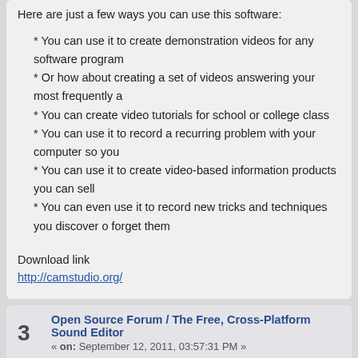Here are just a few ways you can use this software:
* You can use it to create demonstration videos for any software program
* Or how about creating a set of videos answering your most frequently a
* You can create video tutorials for school or college class
* You can use it to record a recurring problem with your computer so you
* You can use it to create video-based information products you can sell
* You can even use it to record new tricks and techniques you discover o forget them
Download link
http://camstudio.org/
3  Open Source Forum / The Free, Cross-Platform Sound Editor
« on: September 12, 2011, 03:57:31 PM »
Audacity® is free, open source software for recording and editing sounds. GNU/Linux, and other operating systems. Learn more about Audacity... Als
Features
This is a list of features in Audacity, the free audio editor. For more informat pages.